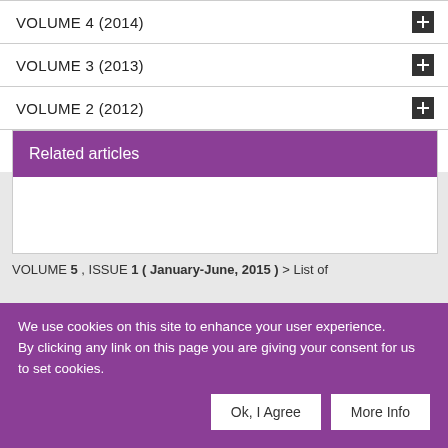VOLUME 4 (2014)
VOLUME 3 (2013)
VOLUME 2 (2012)
VOLUME 1 (2011)
Related articles
VOLUME 5 , ISSUE 1 ( January-June, 2015 ) > List of
We use cookies on this site to enhance your user experience. By clicking any link on this page you are giving your consent for us to set cookies.